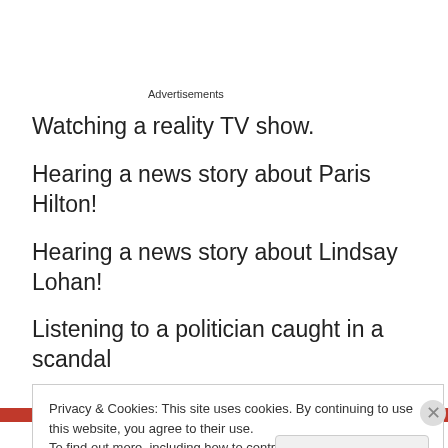Advertisements
Watching a reality TV show.
Hearing a news story about Paris Hilton!
Hearing a news story about Lindsay Lohan!
Listening to a politician caught in a scandal
Privacy & Cookies: This site uses cookies. By continuing to use this website, you agree to their use.
To find out more, including how to control cookies, see here: Cookie Policy
Advertisements
[Figure (other): Red advertisement banner at the bottom of the page]